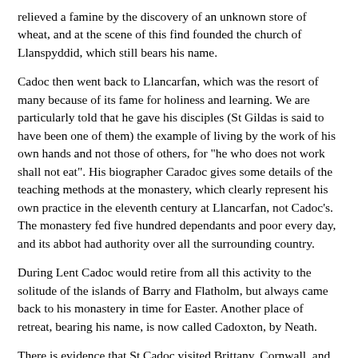relieved a famine by the discovery of an unknown store of wheat, and at the scene of this find founded the church of Llanspyddid, which still bears his name.
Cadoc then went back to Llancarfan, which was the resort of many because of its fame for holiness and learning. We are particularly told that he gave his disciples (St Gildas is said to have been one of them) the example of living by the work of his own hands and not those of others, for "he who does not work shall not eat". His biographer Caradoc gives some details of the teaching methods at the monastery, which clearly represent his own practice in the eleventh century at Llancarfan, not Cadoc's. The monastery fed five hundred dependants and poor every day, and its abbot had authority over all the surrounding country.
During Lent Cadoc would retire from all this activity to the solitude of the islands of Barry and Flatholm, but always came back to his monastery in time for Easter. Another place of retreat, bearing his name, is now called Cadoxton, by Neath.
There is evidence that St Cadoc visited Brittany, Cornwall, and Scotland, founding a monastery at Cambuslang; and he is said to have been present at the synod of Llandewi Frefi, and to have made the common-form pilgrimage to Rome and Jerusalem. Very wonderful are the circumstances of his death, as reported by his